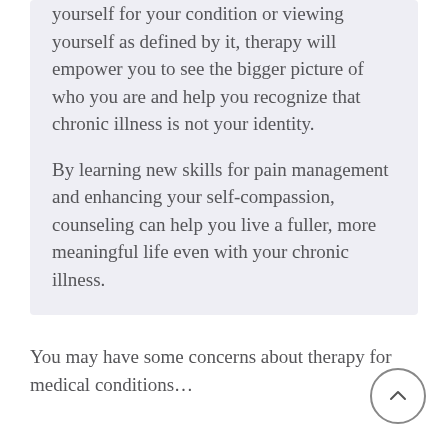yourself for your condition or viewing yourself as defined by it, therapy will empower you to see the bigger picture of who you are and help you recognize that chronic illness is not your identity.

By learning new skills for pain management and enhancing your self-compassion, counseling can help you live a fuller, more meaningful life even with your chronic illness.
You may have some concerns about therapy for medical conditions…